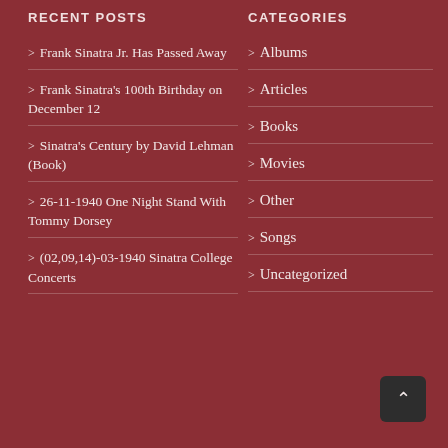RECENT POSTS
Frank Sinatra Jr. Has Passed Away
Frank Sinatra's 100th Birthday on December 12
Sinatra's Century by David Lehman (Book)
26-11-1940 One Night Stand With Tommy Dorsey
(02,09,14)-03-1940 Sinatra College Concerts
CATEGORIES
Albums
Articles
Books
Movies
Other
Songs
Uncategorized